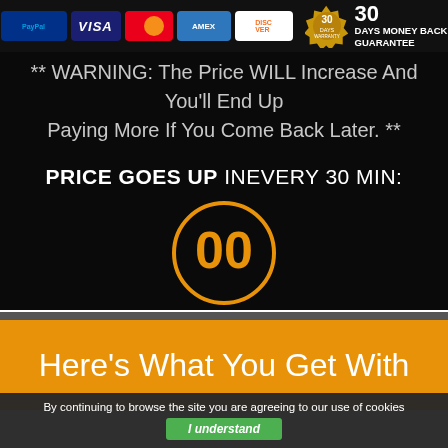[Figure (infographic): Payment method icons: PayPal, Visa, MasterCard, American Express, Discover; plus a 30-day warranty badge and '30 Days Money Back GUARANTEE' text]
** WARNING: The Price WILL Increase And You'll End Up Paying More If You Come Back Later. **
PRICE GOES UP INEVERY 30 MIN:
[Figure (infographic): Countdown timer circle with orange border showing '00' SECS]
Here's What You Get With
By continuing to browse the site you are agreeing to our use of cookies
I understand